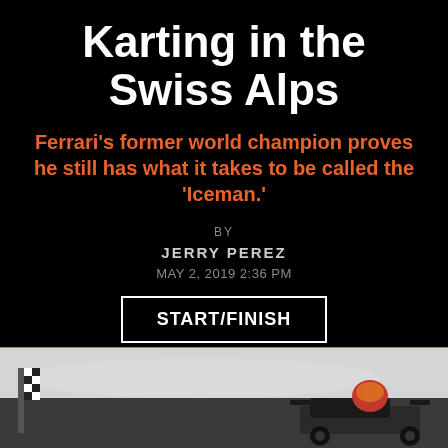Karting in the Swiss Alps
Ferrari’s former world champion proves he still has what it takes to be called the ‘Iceman.’
BY
JERRY PEREZ
MAY 2, 2019 2:36 PM
START/FINISH
[Figure (photo): Black and white snowy alpine landscape photo with a racing kart and driver wearing a helmet visible at the bottom right, and a checkered flag on the left side.]